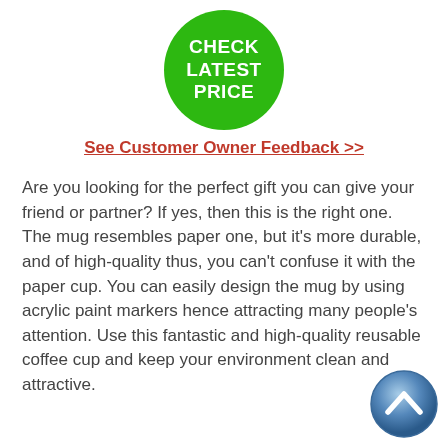[Figure (other): Green circular badge with white bold text reading CHECK LATEST PRICE]
See Customer Owner Feedback >>
Are you looking for the perfect gift you can give your friend or partner? If yes, then this is the right one. The mug resembles paper one, but it's more durable, and of high-quality thus, you can't confuse it with the paper cup. You can easily design the mug by using acrylic paint markers hence attracting many people's attention. Use this fantastic and high-quality reusable coffee cup and keep your environment clean and attractive.
[Figure (illustration): Blue circular scroll-to-top button with upward chevron arrow icon]